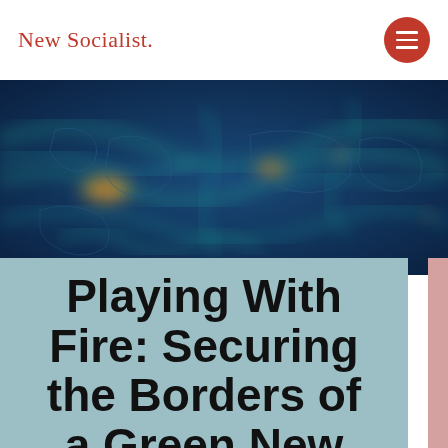New Socialist.
[Figure (map): Global satellite map visualization showing atmospheric CO2 or heat data over the world map with blue, teal, and orange/red colorscale indicating varying intensity levels]
Playing With Fire: Securing the Borders of a Green New Deal